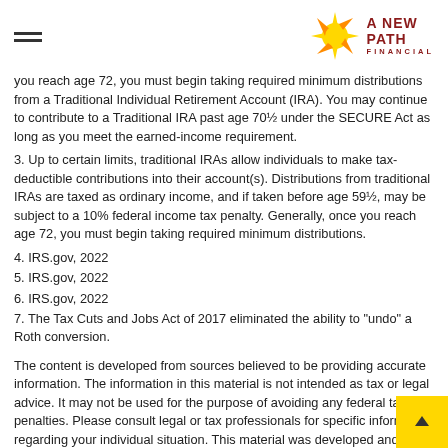A New Path Financial
you reach age 72, you must begin taking required minimum distributions from a Traditional Individual Retirement Account (IRA). You may continue to contribute to a Traditional IRA past age 70½ under the SECURE Act as long as you meet the earned-income requirement.
3. Up to certain limits, traditional IRAs allow individuals to make tax-deductible contributions into their account(s). Distributions from traditional IRAs are taxed as ordinary income, and if taken before age 59½, may be subject to a 10% federal income tax penalty. Generally, once you reach age 72, you must begin taking required minimum distributions.
4. IRS.gov, 2022
5. IRS.gov, 2022
6. IRS.gov, 2022
7. The Tax Cuts and Jobs Act of 2017 eliminated the ability to "undo" a Roth conversion.
The content is developed from sources believed to be providing accurate information. The information in this material is not intended as tax or legal advice. It may not be used for the purpose of avoiding any federal tax penalties. Please consult legal or tax professionals for specific information regarding your individual situation. This material was developed and produced by FMG Suite to provide information on a topic that may be of interest. FMG Suite is not affiliated with the named broker-dealer, state- or SEC-registered investment advisory firm. The opinions expressed and material provided are for general information, and should not be considered a solicitation for the purchase or sale of any security. Copyright 2022 FMG Suite.